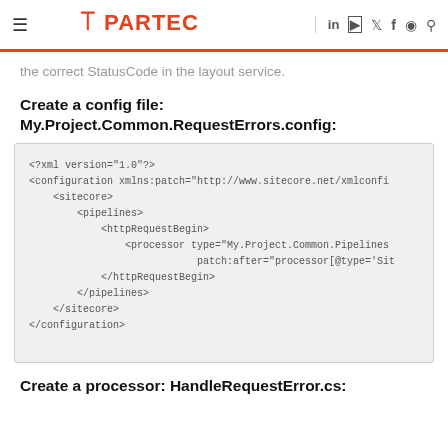≡ PARTECH
the correct StatusCode in the layout service.
Create a config file:
My.Project.Common.RequestErrors.config:
[Figure (screenshot): XML configuration code block showing: <?xml version="1.0"?> <configuration xmlns:patch="http://www.sitecore.net/xmlconfi <sitecore> <pipelines> <httpRequestBegin> <processor type="My.Project.Common.Pipelines patch:after="processor[@type='Sit </httpRequestBegin> </pipelines> </sitecore> </configuration>]
Create a processor: HandleRequestError.cs: